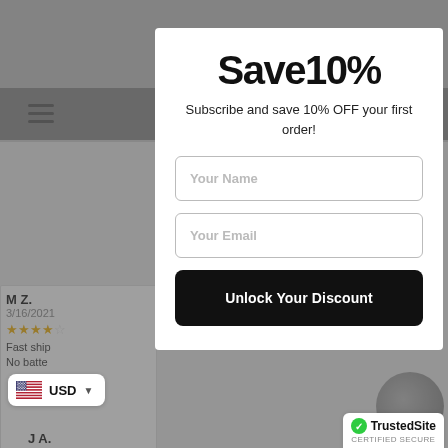[Figure (screenshot): E-commerce website screenshot showing a popup modal overlay. Background shows navigation bar with hamburger menu and cart icon, and customer reviews. Foreground shows a white modal with a 10% discount subscription offer form.]
Save10%
Subscribe and save 10% OFF your first order!
Your Name
Your Email
Unlock Your Discount
M Z.
3/16/2021
Fast ship
No batte
Shoppe
3/9/2021
great
J A.
USD
TrustedSite CERTIFIED SECURE